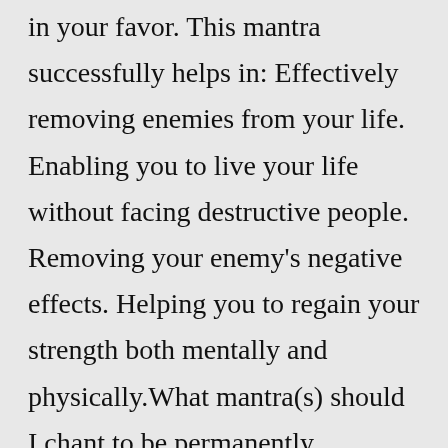in your favor. This mantra successfully helps in: Effectively removing enemies from your life. Enabling you to live your life without facing destructive people. Removing your enemy's negative effects. Helping you to regain your strength both mentally and physically.What mantra(s) should I chant to be permanently employed? Answer: You can chant the Ganesh Mantra "Om Geem Goom Ganpate Namah Swaha" 108 times to remove the obstacles in your